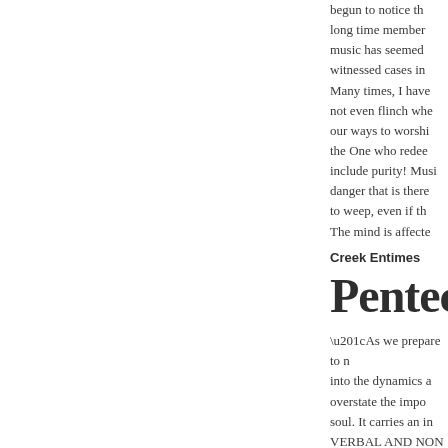begun to notice th long time member music has seemed witnessed cases in Many times, I have not even flinch whe our ways to worshi the One who redee include purity! Musi danger that is there to weep, even if th The mind is affecte
Creek Entimes
Pentecos
“As we prepare to n into the dynamics a overstate the impo soul. It carries an in VERBAL AND NON memorize them ov